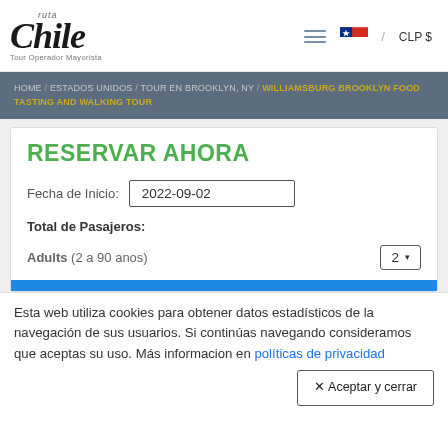[Figure (logo): Ruta Chile Tour Operador Mayorista logo with stylized Chile text]
Menu icon | Chilean flag | / CLP $
HOME / ESTADOS UNIDOS / TOUR EN BROOKLYN, NY / WILLIAMSBURG BROOKLYN FOOD TASTING AND WALKING TOUR
RESERVAR AHORA
Fecha de Inicio: 2022-09-02
Total de Pasajeros:
Adults (2 a 90 anos) 2
Esta web utiliza cookies para obtener datos estadísticos de la navegación de sus usuarios. Si continúas navegando consideramos que aceptas su uso. Más informacion en políticas de privacidad
✕ Aceptar y cerrar